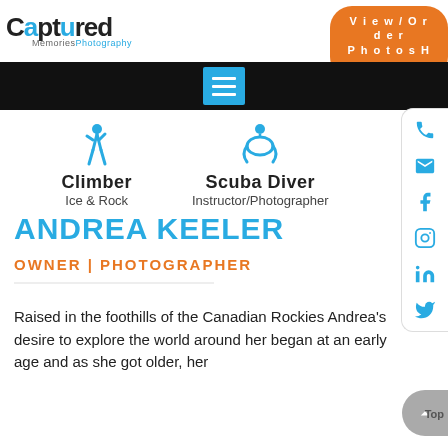[Figure (logo): Captured Memories Photography logo with colorful lens icon]
View/Order Photos Here
[Figure (screenshot): Black navigation bar with cyan hamburger menu button]
Climber
Ice & Rock
Scuba Diver
Instructor/Photographer
[Figure (infographic): Social media sidebar icons: phone, email, Facebook, Instagram, LinkedIn, Twitter]
ANDREA KEELER
OWNER | PHOTOGRAPHER
Raised in the foothills of the Canadian Rockies Andrea's desire to explore the world around her began at an early age and as she got older, her